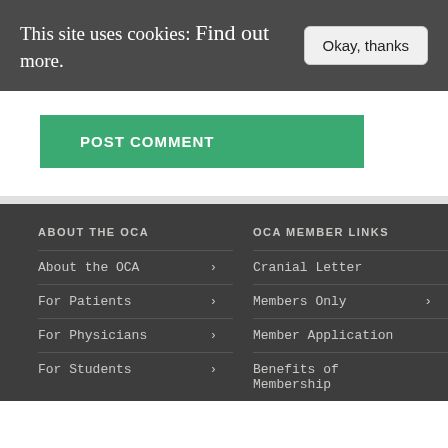This site uses cookies: Find out more.
Okay, thanks
POST COMMENT
ABOUT THE OCA
OCA MEMBER LINKS
About the OCA >
For Patients >
For Physicians >
For Students >
Cranial Letter
Members Only >
Member Application
Benefits of Membership